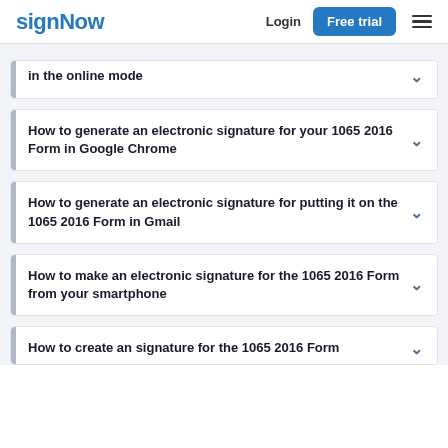signNow | Login | Free trial
in the online mode
How to generate an electronic signature for your 1065 2016 Form in Google Chrome
How to generate an electronic signature for putting it on the 1065 2016 Form in Gmail
How to make an electronic signature for the 1065 2016 Form from your smartphone
How to create an signature for the 1065 2016 Form